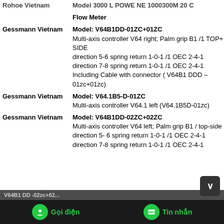| Vendor | Description |
| --- | --- |
|  | Flow Meter |
| Gessmann Vietnam | Model: V64B1DD-01ZC+01ZC
Multi-axis controller V64 right; Palm grip B1 /1 TOP+ 1 SIDE
direction 5-6 spring return 1-0-1 /1 OEC 2-4-1
direction 7-8 spring return 1-0-1 /1 OEC 2-4-1
Including Cable with connector ( V64B1 DDD – 01zc+01zc) |
| Gessmann Vietnam | Model: V64.1B5-D-01ZC
Multi-axis controller V64.1 left (V64.1B5D-01zc) |
| Gessmann Vietnam | Model: V64B1DD-02ZC+02ZC
Multi-axis controller V64 left; Palm grip B1 / top-side
direction 5- 6 spring return 1-0-1 /1 OEC 2-4-1
direction 7-8 spring return 1-0-1 /1 OEC 2-4-1 |
Gọi điện   V64B1 DD -02zc+02...   Tin nhắn